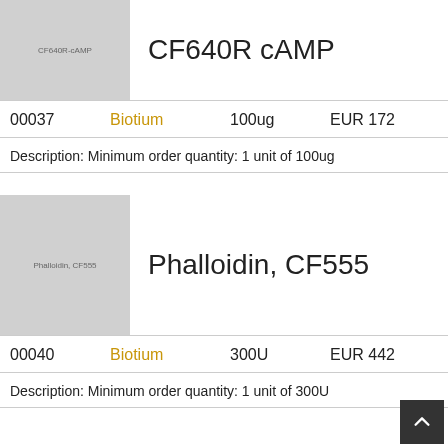[Figure (photo): Product image placeholder for CF640R-cAMP with gray background and label text]
CF640R cAMP
| ID | Brand | Quantity | Price |
| --- | --- | --- | --- |
| 00037 | Biotium | 100ug | EUR 172 |
Description: Minimum order quantity: 1 unit of 100ug
[Figure (photo): Product image placeholder for Phalloidin CF555 with gray background and label text]
Phalloidin, CF555
| ID | Brand | Quantity | Price |
| --- | --- | --- | --- |
| 00040 | Biotium | 300U | EUR 442 |
Description: Minimum order quantity: 1 unit of 300U